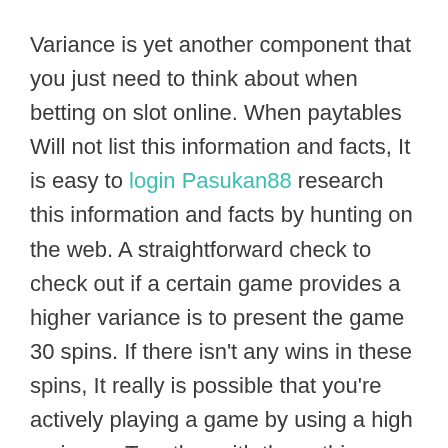Variance is yet another component that you just need to think about when betting on slot online. When paytables Will not list this information and facts, It is easy to login Pasukan88 research this information and facts by hunting on the web. A straightforward check to check out if a certain game provides a higher variance is to present the game 30 spins. If there isn't any wins in these spins, It really is possible that you're actively playing a game by using a high variance. Together with these things, the paytables on their own have unique values than those about the paytable.
You will need to consider the coin denominations. The denominations of slot machines are essential given that they affect the size in the winnings. The scaled-down the coin denomination, the greater possible you are to get.